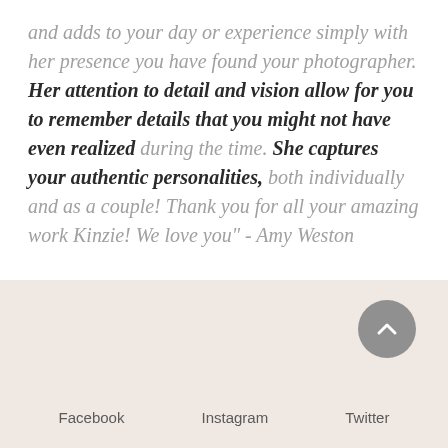and adds to your day or experience simply with her presence you have found your photographer. Her attention to detail and vision allow for you to remember details that you might not have even realized during the time. She captures your authentic personalities, both individually and as a couple! Thank you for all your amazing work Kinzie! We love you" - Amy Weston
[Figure (other): Footer area with light pinkish-beige background, a circular grey scroll-to-top button with upward chevron arrow on the right, and social media links (Facebook, Instagram, Twitter) at the bottom]